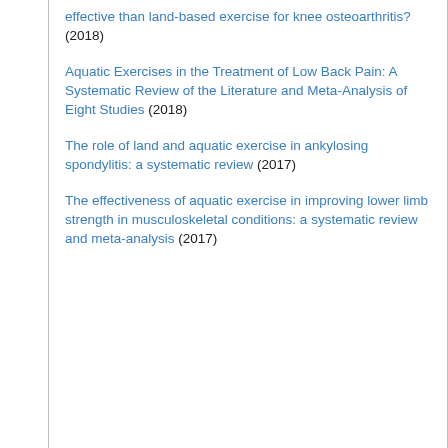effective than land-based exercise for knee osteoarthritis? (2018)
Aquatic Exercises in the Treatment of Low Back Pain: A Systematic Review of the Literature and Meta-Analysis of Eight Studies (2018)
The role of land and aquatic exercise in ankylosing spondylitis: a systematic review (2017)
The effectiveness of aquatic exercise in improving lower limb strength in musculoskeletal conditions: a systematic review and meta-analysis (2017)